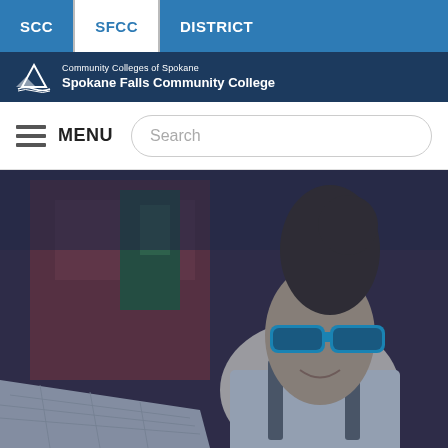SCC | SFCC | DISTRICT
[Figure (logo): Community Colleges of Spokane / Spokane Falls Community College logo with mountain icon]
MENU
[Figure (photo): A smiling young woman wearing blue sunglasses and a backpack, looking at a map outdoors in front of a red building. Image has a blue overlay tint.]